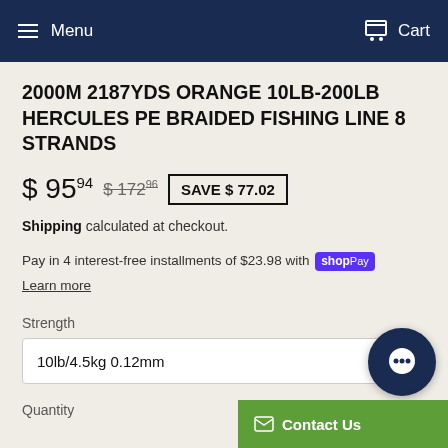Menu  Cart
2000M 2187YDS ORANGE 10LB-200LB HERCULES PE BRAIDED FISHING LINE 8 STRANDS
$ 95.94  $ 172.96  SAVE $ 77.02
Shipping calculated at checkout.
Pay in 4 interest-free installments of $23.98 with shop Pay
Learn more
Strength
10lb/4.5kg 0.12mm
Quantity